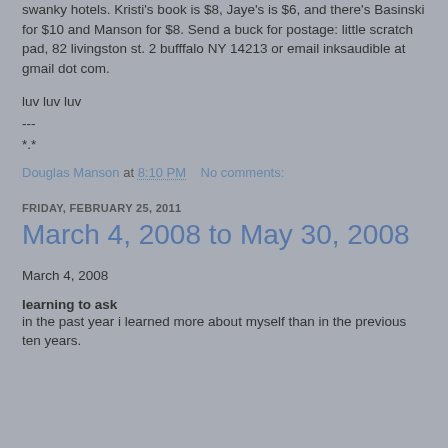swanky hotels. Kristi's book is $8, Jaye's is $6, and there's Basinski for $10 and Manson for $8. Send a buck for postage: little scratch pad, 82 livingston st. 2 bufffalo NY 14213 or email inksaudible at gmail dot com.
luv luv luv
---
*.*
Douglas Manson at 8:10 PM   No comments:
FRIDAY, FEBRUARY 25, 2011
March 4, 2008 to May 30, 2008
March 4, 2008
learning to ask
in the past year i learned more about myself than in the previous ten years.